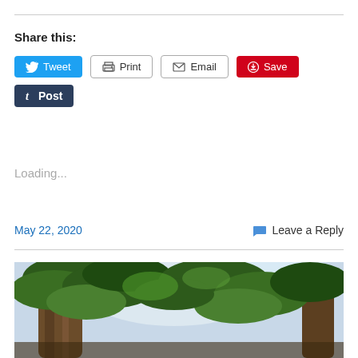Share this:
Tweet | Print | Email | Save | Post
Loading...
May 22, 2020   Leave a Reply
[Figure (photo): Outdoor photo looking up at tall trees with green foliage against a bright sky]